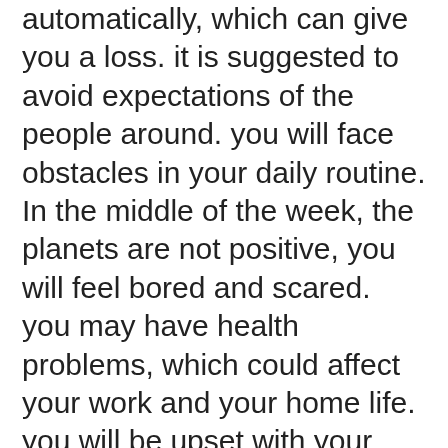automatically, which can give you a loss. it is suggested to avoid expectations of the people around. you will face obstacles in your daily routine. In the middle of the week, the planets are not positive, you will feel bored and scared. you may have health problems, which could affect your work and your home life. you will be upset with your parents' health problems. Your patience is tested repeatedly. you can be the victim of a conspiracy, it is recommended that you must be careful of your rivals and hidden enemies. you are advised to avoid arguing with the seniors. Investment in a fixed asset is recommended to hold for some days, otherwise it can be converted into a zero investment. Love Birds are advised to avoid arguing